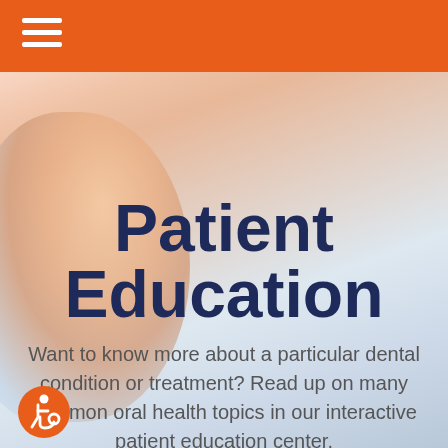[Figure (photo): Hero image background showing a person's face/head on the left with a light blue-gray gradient background]
Patient Education
Want to know more about a particular dental condition or treatment? Read up on many common oral health topics in our interactive patient education center.
[Figure (illustration): Accessibility icon: wheelchair user symbol in orange circle]